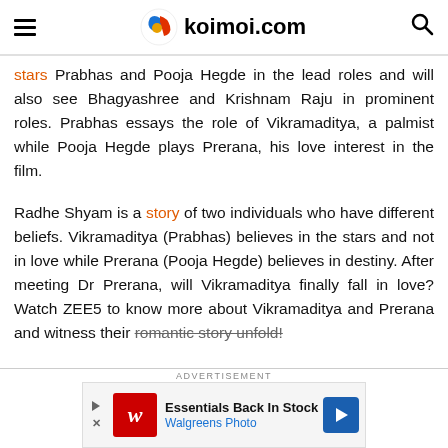koimoi.com
stars Prabhas and Pooja Hegde in the lead roles and will also see Bhagyashree and Krishnam Raju in prominent roles. Prabhas essays the role of Vikramaditya, a palmist while Pooja Hegde plays Prerana, his love interest in the film.
Radhe Shyam is a story of two individuals who have different beliefs. Vikramaditya (Prabhas) believes in the stars and not in love while Prerana (Pooja Hegde) believes in destiny. After meeting Dr Prerana, will Vikramaditya finally fall in love? Watch ZEE5 to know more about Vikramaditya and Prerana and witness their romantic story unfold!
ADVERTISEMENT
[Figure (other): Advertisement banner: Walgreens Photo - Essentials Back In Stock]